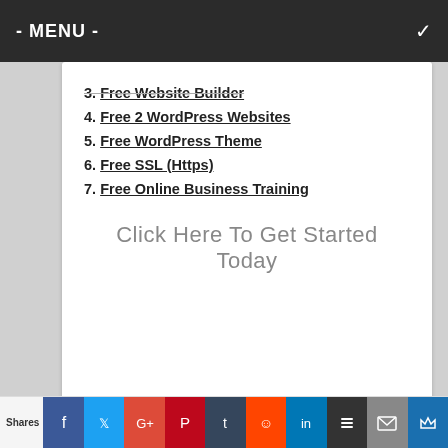- MENU -
3. Free Website Builder
4. Free 2 WordPress Websites
5. Free WordPress Theme
6. Free SSL (Https)
7. Free Online Business Training
Click Here To Get Started Today
Learn How to Build a Successful Business Online
[Figure (infographic): Infographic with teal and yellow background panels showing text 'Learn How to Build Your Own' with a yellow accent line]
Shares | Facebook | Twitter | Google+ | Pinterest | Tumblr | Reddit | LinkedIn | Buffer | Email | Crown